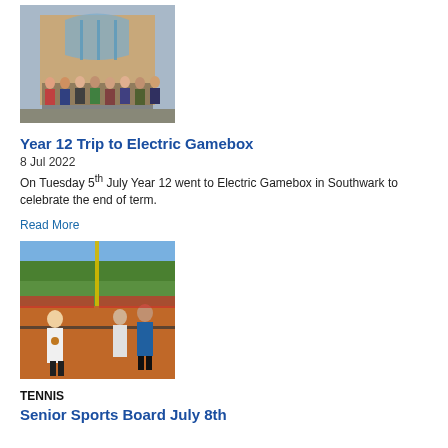[Figure (photo): Group of students standing in front of a brick building with an arched glass entrance]
Year 12 Trip to Electric Gamebox
8 Jul 2022
On Tuesday 5th July Year 12 went to Electric Gamebox in Southwark to celebrate the end of term.
Read More
[Figure (photo): Tennis players on a clay court wearing medals, posing after a match]
TENNIS
Senior Sports Board July 8th